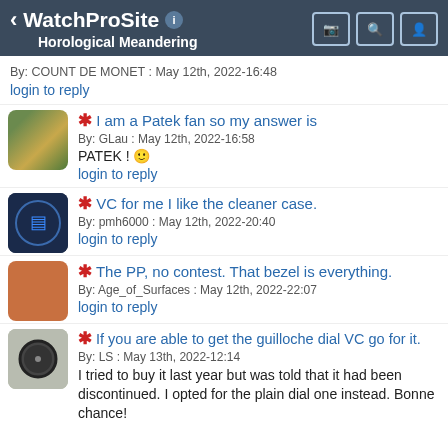WatchProSite — Horological Meandering
By: COUNT DE MONET : May 12th, 2022-16:48
login to reply
* I am a Patek fan so my answer is
By: GLau : May 12th, 2022-16:58
PATEK ! 🙂
login to reply
* VC for me I like the cleaner case.
By: pmh6000 : May 12th, 2022-20:40
login to reply
* The PP, no contest. That bezel is everything.
By: Age_of_Surfaces : May 12th, 2022-22:07
login to reply
* If you are able to get the guilloche dial VC go for it.
By: LS : May 13th, 2022-12:14
I tried to buy it last year but was told that it had been discontinued. I opted for the plain dial one instead. Bonne chance!